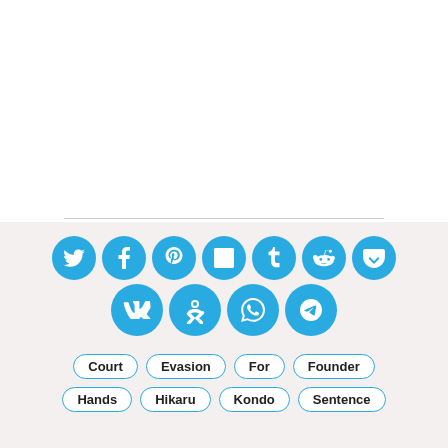[Figure (infographic): Social media share/follow icon buttons arranged in two rows: Twitter, Facebook, Pinterest, LinkedIn, Tumblr, Reddit, Pocket (row 1); VK, Odnoklassniki, WhatsApp, Telegram (row 2). All icons are blue circles with white icons.]
Court  Evasion  For  Founder
Hands  Hikaru  Kondo  Sentence